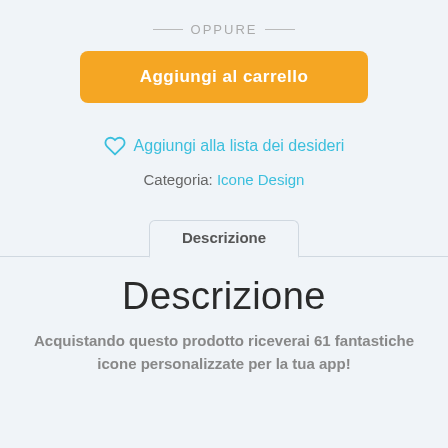— OPPURE —
Aggiungi al carrello
Aggiungi alla lista dei desideri
Categoria: Icone Design
Descrizione
Descrizione
Acquistando questo prodotto riceverai 61 fantastiche icone personalizzate per la tua app!